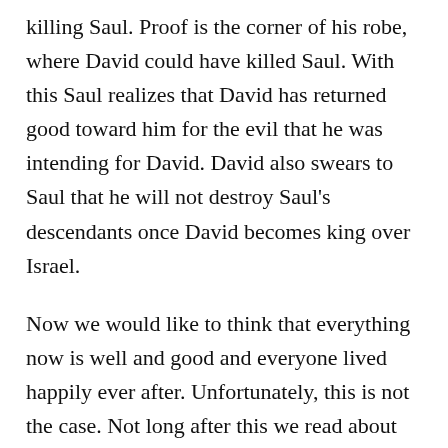killing Saul. Proof is the corner of his robe, where David could have killed Saul. With this Saul realizes that David has returned good toward him for the evil that he was intending for David. David also swears to Saul that he will not destroy Saul's descendants once David becomes king over Israel.
Now we would like to think that everything now is well and good and everyone lived happily ever after. Unfortunately, this is not the case. Not long after this we read about Saul coming after David again, which is recorded in 1 Samuel 26. Saul is searching for David with 3000 men again. One night, Saul is sleeping inside the inner circle of the camp with his spear next to his head. Abishai tells David that the Lord had given Saul into his hands. "Let me thrust the spear through him into the ground just once. I won't have to strike h [scroll button] twice!" (26:8). Now, Saul is a liar. Saul said that he would no